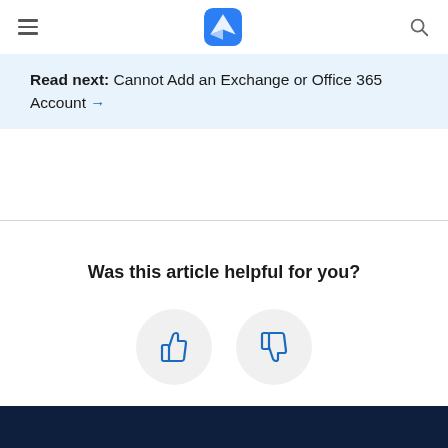Spark – Email App by Readdle (navigation bar with logo and search)
Read next: Cannot Add an Exchange or Office 365 Account →
Was this article helpful for you?